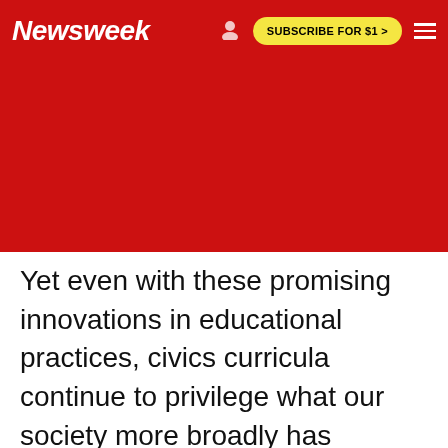Newsweek | SUBSCRIBE FOR $1 >
Yet even with these promising innovations in educational practices, civics curricula continue to privilege what our society more broadly has privileged: speaking, without the necessary counterpart of listening. To rebuild trust and reset our democracy, we need to teach students to listen empathically in the context of